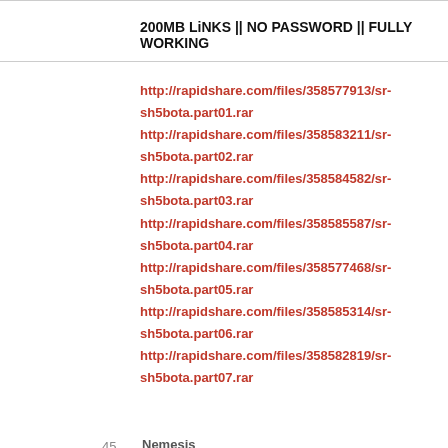200MB LiNKS || NO PASSWORD || FULLY WORKING
http://rapidshare.com/files/358577913/sr-sh5bota.part01.rar
http://rapidshare.com/files/358583211/sr-sh5bota.part02.rar
http://rapidshare.com/files/358584582/sr-sh5bota.part03.rar
http://rapidshare.com/files/358585587/sr-sh5bota.part04.rar
http://rapidshare.com/files/358577468/sr-sh5bota.part05.rar
http://rapidshare.com/files/358585314/sr-sh5bota.part06.rar
http://rapidshare.com/files/358582819/sr-sh5bota.part07.rar
45. Nemesis
March 4th, 2010 | 01:23
qué
46. koldun
March 4th, 2010 | 01:34
Silent Hunter 5: Battle of the Atlantic (2010/ENG)SKIDROW... 3.92 Gb...